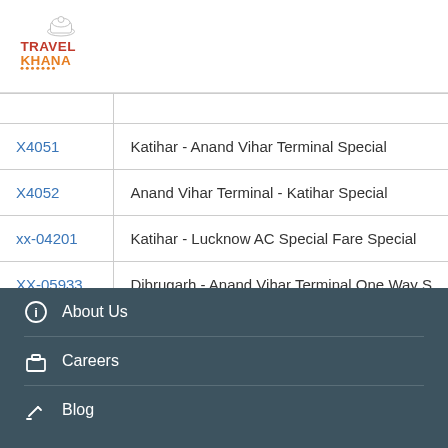[Figure (logo): Travel Khana logo with chef hat and text TRAVEL KHANA in red and orange]
| Code | Train Name |
| --- | --- |
| X4051 | Katihar - Anand Vihar Terminal Special |
| X4052 | Anand Vihar Terminal - Katihar Special |
| xx-04201 | Katihar - Lucknow AC Special Fare Special |
| XX-05933 | Dibrugarh - Anand Vihar Terminal One Way S... |
| XX02537 | Gorakhpur - Badshahnagar(Lucknow) SF Sp... |
About Us
Careers
Blog